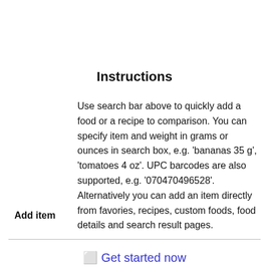Instructions
Use search bar above to quickly add a food or a recipe to comparison. You can specify item and weight in grams or ounces in search box, e.g. 'bananas 35 g', 'tomatoes 4 oz'. UPC barcodes are also supported, e.g. '070470496528'. Alternatively you can add an item directly from favories, recipes, custom foods, food details and search result pages.
⬜ Get started now